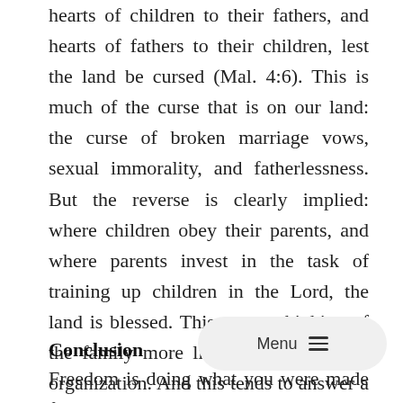hearts of children to their fathers, and hearts of fathers to their children, lest the land be cursed (Mal. 4:6). This is much of the curse that is on our land: the curse of broken marriage vows, sexual immorality, and fatherlessness. But the reverse is clearly implied: where children obey their parents, and where parents invest in the task of training up children in the Lord, the land is blessed. This means thinking of the family more like a small business organization. And this tends to answer a number of questions like why God assigns responsibility for the enterprise to the husband/father or what work a woman does.◆
Conclusion
Freedom is doing what you were made for to your ◆